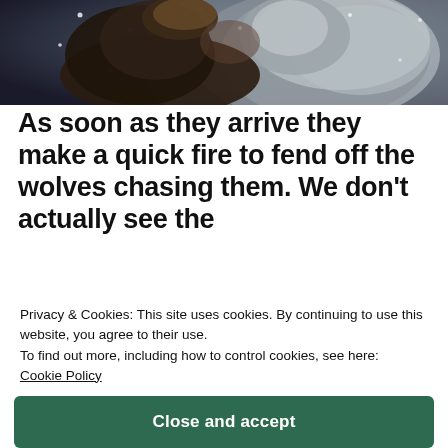[Figure (photo): A close-up photo of a person in dark winter clothing nuzzling or interacting with a large grey wolf in snowy conditions, dark atmospheric background]
As soon as they arrive they make a quick fire to fend off the wolves chasing them. We don’t actually see the
...wolves, but Gance has ingeniously tell a story through sound. Using only growls and cries, we learn that one
Privacy & Cookies: This site uses cookies. By continuing to use this website, you agree to their use. To find out more, including how to control cookies, see here: Cookie Policy
on the alpha male but